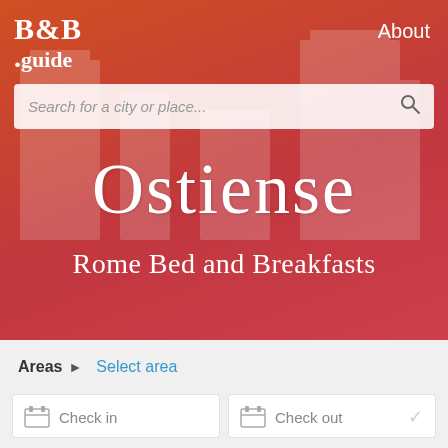[Figure (screenshot): B&B.guide website hero section with orange-red gradient background showing Ostiense Rome Bed and Breakfasts page with navigation, search bar, and area/check-in UI]
B&B .guide
About
Search for a city or place...
Ostiense
Rome Bed and Breakfasts
Areas ► Select area
Check in
Check out